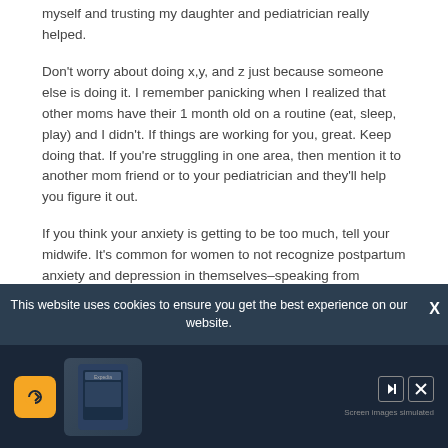myself and trusting my daughter and pediatrician really helped.
Don't worry about doing x,y, and z just because someone else is doing it. I remember panicking when I realized that other moms have their 1 month old on a routine (eat, sleep, play) and I didn't. If things are working for you, great. Keep doing that. If you're struggling in one area, then mention it to another mom friend or to your pediatrician and they'll help you figure it out.
If you think your anxiety is getting to be too much, tell your midwife. It's common for women to not recognize postpartum anxiety and depression in themselves–speaking from experience. Take care. <3
Reply
This website uses cookies to ensure you get the best experience on our website.
[Figure (screenshot): Advertisement banner with dark background showing Expedia app on phone and travel icon]